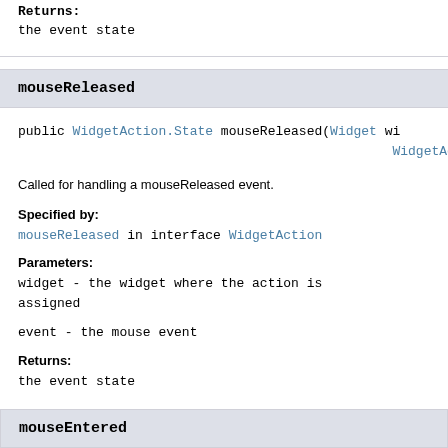Returns:
the event state
mouseReleased
public WidgetAction.State mouseReleased(Widget wi WidgetAct
Called for handling a mouseReleased event.
Specified by:
mouseReleased in interface WidgetAction
Parameters:
widget - the widget where the action is assigned
event - the mouse event
Returns:
the event state
mouseEntered